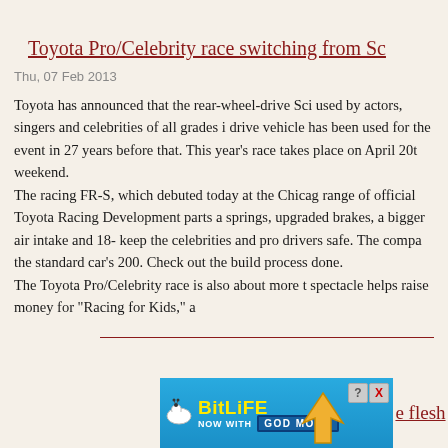Toyota Pro/Celebrity race switching from Sc
Thu, 07 Feb 2013
Toyota has announced that the rear-wheel-drive Sci used by actors, singers and celebrities of all grades i drive vehicle has been used for the event in 27 years before that. This year's race takes place on April 20t weekend. The racing FR-S, which debuted today at the Chicag range of official Toyota Racing Development parts a springs, upgraded brakes, a bigger air intake and 18- keep the celebrities and pro drivers safe. The compa the standard car's 200. Check out the build process done. The Toyota Pro/Celebrity race is also about more t spectacle helps raise money for "Racing for Kids," a
[Figure (screenshot): BitLife advertisement banner with 'NOW WITH GOD MODE' text and pointing hand graphic, with 'e flesh' text link visible to the right]